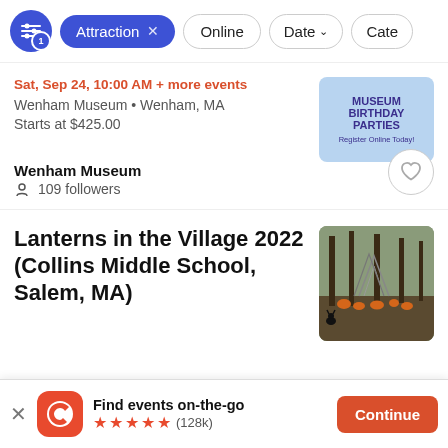Attraction × | Online | Date ▾ | Cate
Sat, Sep 24, 10:00 AM + more events
Wenham Museum • Wenham, MA
Starts at $425.00
[Figure (illustration): Museum Birthday Parties promotional image with blue background and purple text]
Wenham Museum
109 followers
Lanterns in the Village 2022 (Collins Middle School, Salem, MA)
[Figure (photo): Outdoor photo showing a field with pumpkins and metal structures, trees in the background]
Find events on-the-go
★★★★★ (128k)
Continue